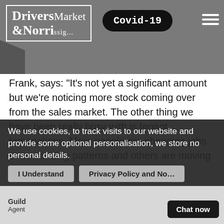Drivers & Norris Market Insight — Covid-19
Frank, says: "It's not yet a significant amount but we're noticing more stock coming over from the sales market. The other thing we have been really busy with is tenant terminations. More people are changing jobs or commuting patterns and others are moving abroad."
Via @PropertyReporter
[Figure (infographic): Social share buttons: Facebook (blue), Twitter (light blue), Pinterest (red)]
We use cookies, to track visits to our website and provide some optional personalisation, we store no personal details.
I Understand   Privacy Policy and No...
Guild Agent ... Chat now